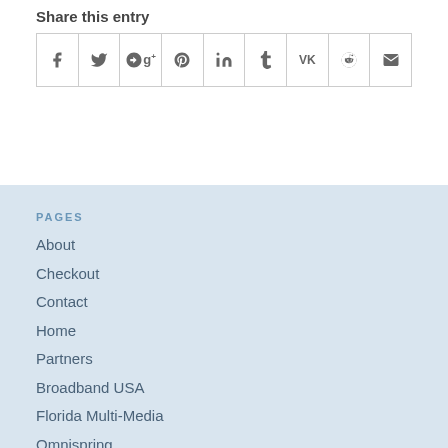Share this entry
[Figure (infographic): Social sharing icons row: Facebook, Twitter, Google+, Pinterest, LinkedIn, Tumblr, VK, Reddit, Email]
PAGES
About
Checkout
Contact
Home
Partners
Broadband USA
Florida Multi-Media
Omnispring